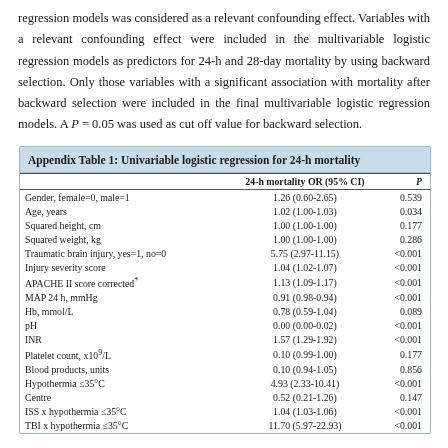regression models was considered as a relevant confounding effect. Variables with a relevant confounding effect were included in the multivariable logistic regression models as predictors for 24-h and 28-day mortality by using backward selection. Only those variables with a significant association with mortality after backward selection were included in the final multivariable logistic regression models. A P = 0.05 was used as cut off value for backward selection.
|  | 24-h mortality OR (95% CI) | P |
| --- | --- | --- |
| Gender, female=0, male=1 | 1.26 (0.60-2.65) | 0.539 |
| Age, years | 1.02 (1.00-1.03) | 0.034 |
| Squared height, cm | 1.00 (1.00-1.00) | 0.177 |
| Squared weight, kg | 1.00 (1.00-1.00) | 0.286 |
| Traumatic brain injury, yes=1, no=0 | 5.75 (2.97-11.15) | <0.001 |
| Injury severity score | 1.04 (1.02-1.07) | <0.001 |
| APACHE II score corrected* | 1.13 (1.09-1.17) | <0.001 |
| MAP 24 h, mmHg | 0.91 (0.98-0.94) | <0.001 |
| Hb, mmol/L | 0.78 (0.59-1.04) | 0.089 |
| pH | 0.00 (0.00-0.02) | <0.001 |
| INR | 1.57 (1.29-1.92) | <0.001 |
| Platelet count, x10⁹/L | 0.10 (0.99-1.00) | 0.177 |
| Blood products, units | 0.10 (0.94-1.05) | 0.856 |
| Hypothermia ≤35°C | 4.93 (2.33-10.41) | <0.001 |
| Centre | 0.52 (0.21-1.26) | 0.147 |
| ISS x hypothermia ≤35°C | 1.04 (1.03-1.06) | <0.001 |
| TBI x hypothermia ≤35°C | 11.70 (5.97-22.93) | <0.001 |